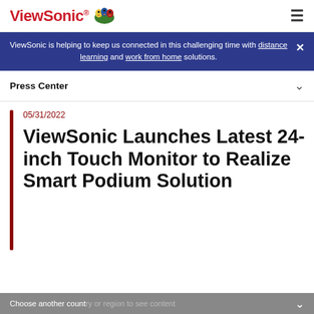ViewSonic [logo]
ViewSonic is helping to keep us connected in this challenging time with distance learning and work from home solutions.
Press Center
05/31/2022
ViewSonic Launches Latest 24-inch Touch Monitor to Realize Smart Podium Solution
Choose another country or region to see content